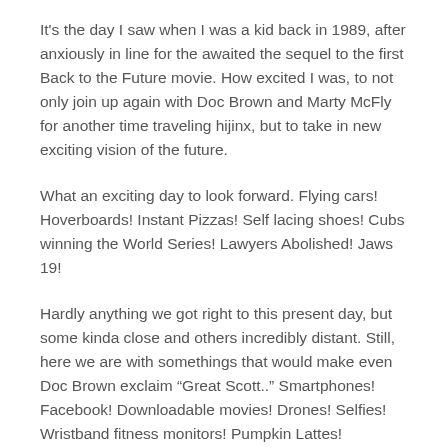It's the day I saw when I was a kid back in 1989, after anxiously in line for the awaited the sequel to the first Back to the Future movie. How excited I was, to not only join up again with Doc Brown and Marty McFly for another time traveling hijinx, but to take in new exciting vision of the future.
What an exciting day to look forward. Flying cars! Hoverboards! Instant Pizzas! Self lacing shoes! Cubs winning the World Series! Lawyers Abolished! Jaws 19!
Hardly anything we got right to this present day, but some kinda close and others incredibly distant. Still, here we are with somethings that would make even Doc Brown exclaim “Great Scott..” Smartphones! Facebook! Downloadable movies! Drones! Selfies! Wristband fitness monitors! Pumpkin Lattes!
I’m sure there’s more amazing things out there I haven’t thought of, and more to come. But it’s cool to